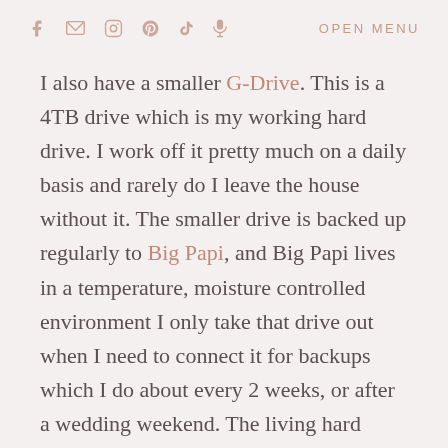f [mail] [instagram] [pinterest] [tiktok] [microphone]   OPEN MENU
I also have a smaller G-Drive. This is a 4TB drive which is my working hard drive. I work off it pretty much on a daily basis and rarely do I leave the house without it. The smaller drive is backed up regularly to Big Papi, and Big Papi lives in a temperature, moisture controlled environment I only take that drive out when I need to connect it for backups which I do about every 2 weeks, or after a wedding weekend. The living hard drive stays with me so I can work on the go, as I